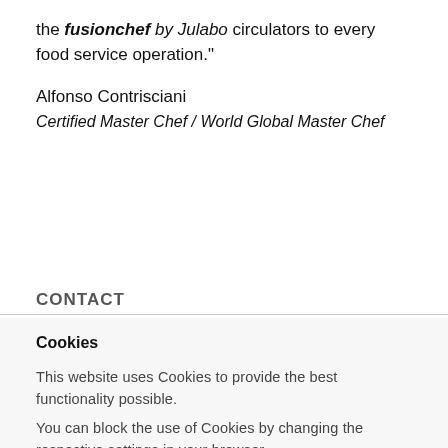the fusionchef by Julabo circulators to every food service operation."
Alfonso Contrisciani
Certified Master Chef / World Global Master Chef
CONTACT
Cookies
This website uses Cookies to provide the best functionality possible.
You can block the use of Cookies by changing the respective settings in your browser.